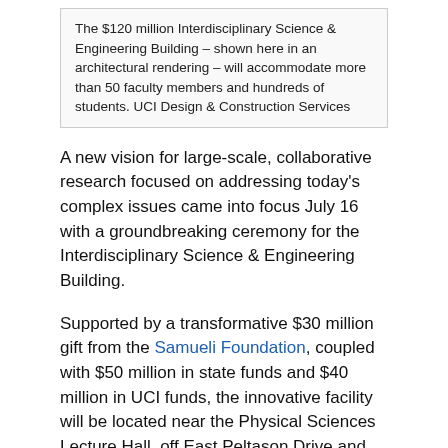The $120 million Interdisciplinary Science & Engineering Building – shown here in an architectural rendering – will accommodate more than 50 faculty members and hundreds of students. UCI Design & Construction Services
A new vision for large-scale, collaborative research focused on addressing today's complex issues came into focus July 16 with a groundbreaking ceremony for the Interdisciplinary Science & Engineering Building.
Supported by a transformative $30 million gift from the Samueli Foundation, coupled with $50 million in state funds and $40 million in UCI funds, the innovative facility will be located near the Physical Sciences Lecture Hall, off East Peltason Drive and South Circle View Drive.
Slated to be one of the largest interdisciplinary research buildings west of the Rocky Mountains, it will bring together faculty, students and staff from UCI's Henry Samueli School of Engineering, School of Physical Sciences and Donald Bren School of